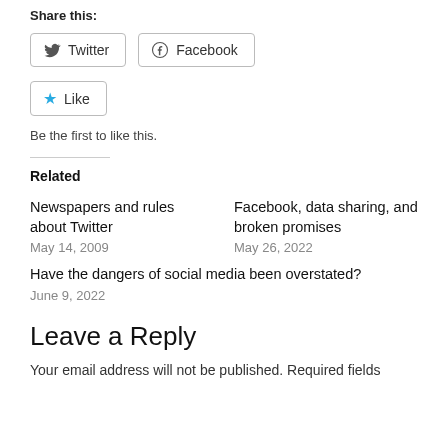Share this:
[Figure (other): Share buttons: Twitter and Facebook with icons]
[Figure (other): Like button with star icon]
Be the first to like this.
Related
Newspapers and rules about Twitter
May 14, 2009
Facebook, data sharing, and broken promises
May 26, 2022
Have the dangers of social media been overstated?
June 9, 2022
Leave a Reply
Your email address will not be published. Required fields